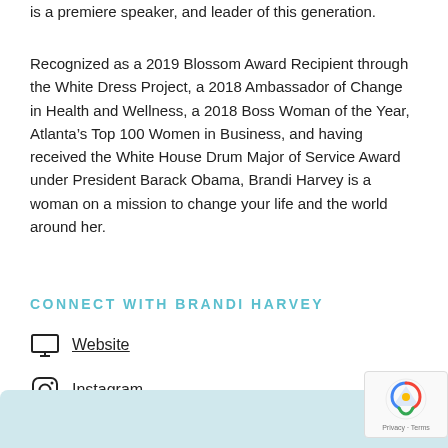is a premiere speaker, and leader of this generation.
Recognized as a 2019 Blossom Award Recipient through the White Dress Project, a 2018 Ambassador of Change in Health and Wellness, a 2018 Boss Woman of the Year, Atlanta’s Top 100 Women in Business, and having received the White House Drum Major of Service Award under President Barack Obama, Brandi Harvey is a woman on a mission to change your life and the world around her.
CONNECT WITH BRANDI HARVEY
Website
Instagram
Facebook
[Figure (other): Light blue/teal bottom bar section of webpage]
[Figure (other): Google reCAPTCHA badge showing logo and Privacy - Terms text]